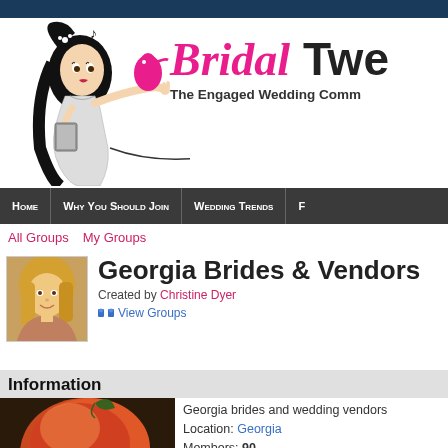[Figure (logo): Bridal Tweet website logo with illustrated bride cartoon and site name 'Bridal Twe...' with tagline 'The Engaged Wedding Comm...']
Home | Why You Should Join | Wedding Trends | F
All Groups   My Groups
[Figure (photo): Profile photo of a smiling blonde woman]
Georgia Brides & Vendors
Created by Christine Dyer
View Groups
Information
[Figure (photo): Close-up photo of a peach fruit]
Georgia brides and wedding vendors
Location: Georgia
Members: 90
Latest Activity: Jan 10, 2015